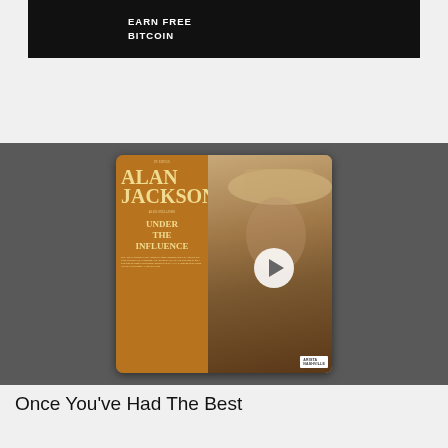[Figure (screenshot): Dark advertisement banner with text 'EARN FREE BITCOIN' in white uppercase letters on black background]
[Figure (photo): Alan Jackson 'Under The Influence' album cover showing the artist in a cowboy hat (sepia-toned photo), with album title text and tracklist. A play button overlay is visible in the center.]
Once You've Had The Best